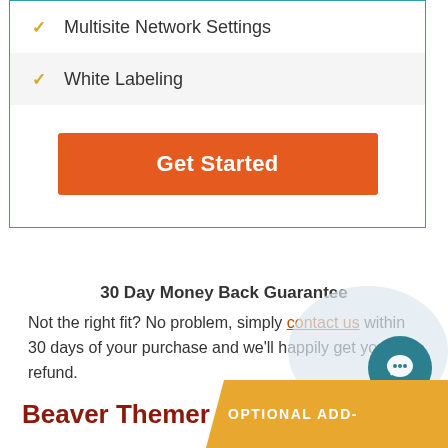Multisite Network Settings
White Labeling
Get Started
30 Day Money Back Guarantee
Not the right fit? No problem, simply contact us within 30 days of your purchase and we'll happily get you a refund.
Beaver Themer
OPTIONAL ADD-